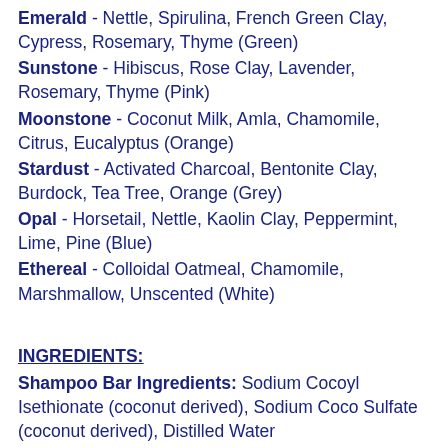Emerald - Nettle, Spirulina, French Green Clay, Cypress, Rosemary, Thyme (Green)
Sunstone - Hibiscus, Rose Clay, Lavender, Rosemary, Thyme (Pink)
Moonstone - Coconut Milk, Amla, Chamomile, Citrus, Eucalyptus (Orange)
Stardust - Activated Charcoal, Bentonite Clay, Burdock, Tea Tree, Orange (Grey)
Opal - Horsetail, Nettle, Kaolin Clay, Peppermint, Lime, Pine (Blue)
Ethereal - Colloidal Oatmeal, Chamomile, Marshmallow, Unscented (White)
INGREDIENTS:
Shampoo Bar Ingredients: Sodium Cocoyl Isethionate (coconut derived), Sodium Coco Sulfate (coconut derived), Distilled Water